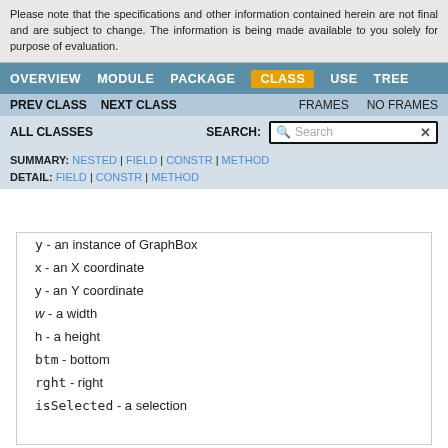Please note that the specifications and other information contained herein are not final and are subject to change. The information is being made available to you solely for purpose of evaluation.
OVERVIEW  MODULE  PACKAGE  CLASS  USE  TREE
PREV CLASS  NEXT CLASS  FRAMES  NO FRAMES
ALL CLASSES  SEARCH:  [Search]
SUMMARY: NESTED | FIELD | CONSTR | METHOD  DETAIL: FIELD | CONSTR | METHOD
y  - an instance of…
x - an X coordinate
y - an Y coordinate
w - a width
h - a height
btm - bottom
rght - right
isSelected - a selection